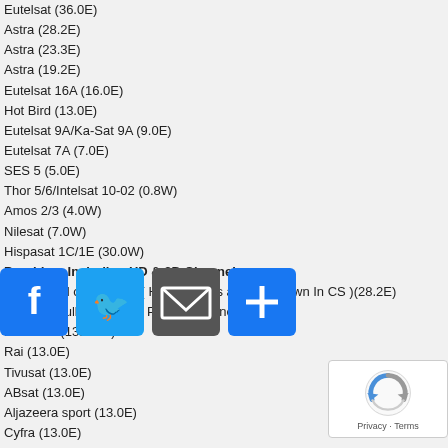Eutelsat (36.0E)
Astra (28.2E)
Astra (23.3E)
Astra (19.2E)
Eutelsat 16A (16.0E)
Hot Bird (13.0E)
Eutelsat 9A/Ka-Sat 9A (9.0E)
Eutelsat 7A (7.0E)
SES 5 (5.0E)
Thor 5/6/Intelsat 10-02 (0.8W)
Amos 2/3 (4.0W)
Nilesat (7.0W)
Hispasat 1C/1E (30.0W)
Providers Including HD & 3D Channels
Sky Uk Full options SD ( HD channels are now Down In CS )(28.2E)
SkyItalia Full options No PPV(13.0E) no HD
Mediaset (13E/5W)
Rai (13.0E)
Tivusat (13.0E)
ABsat (13.0E)
Aljazeera sport (13.0E)
Cyfra (13.0E)
Polsat (13.0E)
N (13.0E)
Med (30.0W)
All Adults (13.0E)
HRT (13.0E)
SRG Swiss (13.0E)
Canalsat French (19.2E)
Digital+ Spain (19.2E)